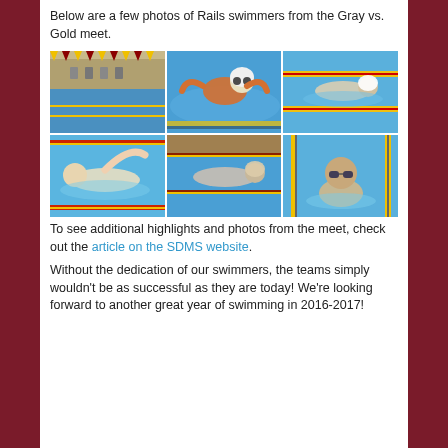Below are a few photos of Rails swimmers from the Gray vs. Gold meet.
[Figure (photo): Six photos of Rails swimmers from the Gray vs. Gold swim meet, arranged in two rows of three.]
To see additional highlights and photos from the meet, check out the article on the SDMS website.
Without the dedication of our swimmers, the teams simply wouldn't be as successful as they are today! We're looking forward to another great year of swimming in 2016-2017!